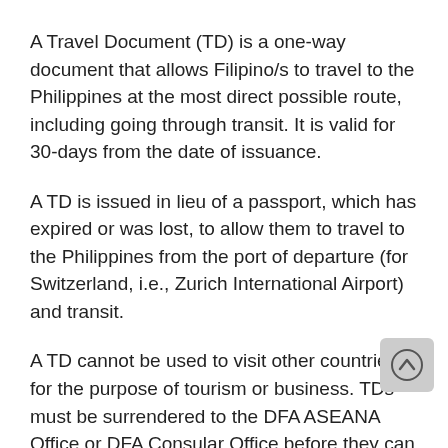A Travel Document (TD) is a one-way document that allows Filipino/s to travel to the Philippines at the most direct possible route, including going through transit. It is valid for 30-days from the date of issuance.
A TD is issued in lieu of a passport, which has expired or was lost, to allow them to travel to the Philippines from the port of departure (for Switzerland, i.e., Zurich International Airport) and transit.
A TD cannot be used to visit other countries for the purpose of tourism or business. TDs must be surrendered to the DFA ASEANA Office or DFA Consular Office before they can be issued anew their Philippine passport, subject to the submission and evaluation of their complete documents.
Travellers who entered the Philippines using a TD are not